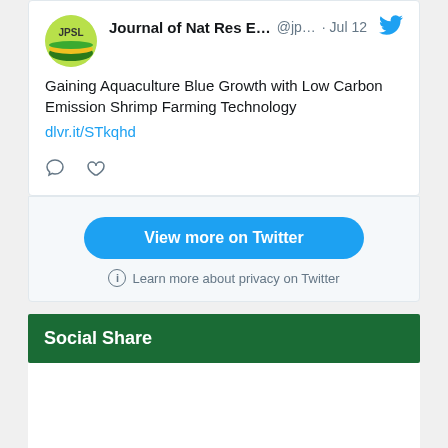[Figure (screenshot): Embedded Twitter/social media widget showing a tweet from Journal of Nat Res E... (@jp...) dated Jul 12. Tweet text: 'Gaining Aquaculture Blue Growth with Low Carbon Emission Shrimp Farming Technology' with link dlvr.it/STkqhd. Below tweet are comment and like icons. A blue 'View more on Twitter' button and 'Learn more about privacy on Twitter' text appear below.]
Social Share